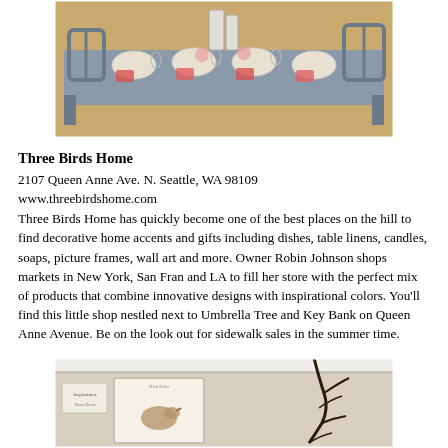[Figure (photo): A dining table with gray/blue cross-back chairs set with plates, glassware, pink floral napkins and table decor in a home goods store setting.]
Three Birds Home
2107 Queen Anne Ave. N. Seattle, WA 98109
www.threebirdshome.com
Three Birds Home has quickly become one of the best places on the hill to find decorative home accents and gifts including dishes, table linens, candles, soaps, picture frames, wall art and more. Owner Robin Johnson shops markets in New York, San Fran and LA to fill her store with the perfect mix of products that combine innovative designs with inspirational colors. You'll find this little shop nestled next to Umbrella Tree and Key Bank on Queen Anne Avenue. Be on the look out for sidewalk sales in the summer time.
[Figure (photo): Interior of Three Birds Home store showing a framed bird print on a beige wall with decorative dark branch/twig arrangement.]